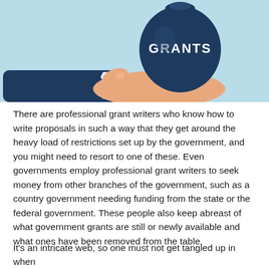[Figure (illustration): Illustration of a hand in a dark navy suit sleeve holding up a navy money bag labeled 'GRANTS' in white text, on a light blue background.]
There are professional grant writers who know how to write proposals in such a way that they get around the heavy load of restrictions set up by the government, and you might need to resort to one of these. Even governments employ professional grant writers to seek money from other branches of the government, such as a country government needing funding from the state or the federal government. These people also keep abreast of what government grants are still or newly available and what ones have been removed from the table.
It's an intricate web, so one must not get tangled up in when...